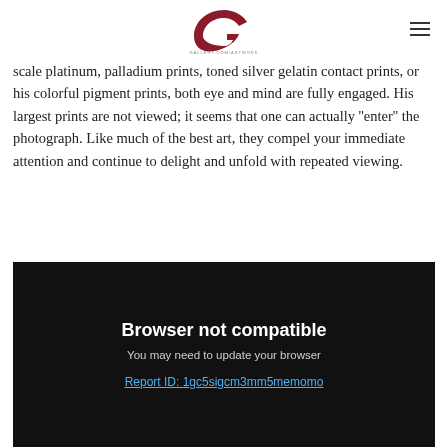gallery.com/artwork logo and navigation
scale platinum, palladium prints, toned silver gelatin contact prints, or his colorful pigment prints, both eye and mind are fully engaged. His largest prints are not viewed; it seems that one can actually ''enter'' the photograph. Like much of the best art, they compel your immediate attention and continue to delight and unfold with repeated viewing.
[Figure (screenshot): Browser not compatible error box on black background with text: 'Browser not compatible', 'You may need to update your browser', and a link 'Report ID: 1gc5sigcm3mm5memomo']